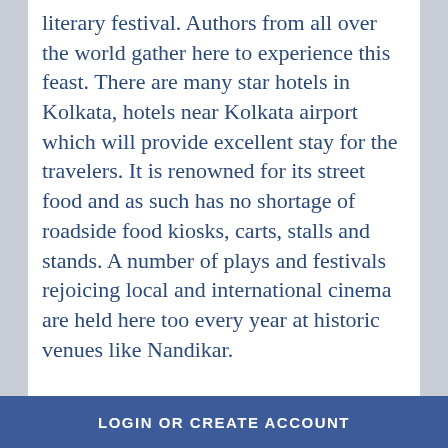literary festival. Authors from all over the world gather here to experience this feast. There are many star hotels in Kolkata, hotels near Kolkata airport which will provide excellent stay for the travelers. It is renowned for its street food and as such has no shortage of roadside food kiosks, carts, stalls and stands. A number of plays and festivals rejoicing local and international cinema are held here too every year at historic venues like Nandikar.
If you have not visited this city so far, it's a must-visit for the next vacation. The main attractions in Kolkata cover Victoria memorial hall, Howrah Bridge,
LOGIN OR CREATE ACCOUNT